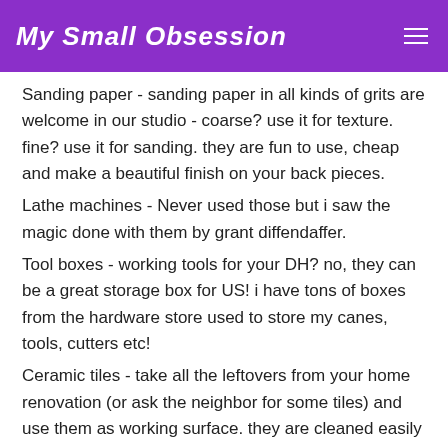My Small Obsession
Sanding paper - sanding paper in all kinds of grits are welcome in our studio - coarse? use it for texture. fine? use it for sanding. they are fun to use, cheap and make a beautiful finish on your back pieces.
Lathe machines - Never used those but i saw the magic done with them by grant diffendaffer.
Tool boxes - working tools for your DH? no, they can be a great storage box for US! i have tons of boxes from the hardware store used to store my canes, tools, cutters etc!
Ceramic tiles - take all the leftovers from your home renovation (or ask the neighbor for some tiles) and use them as working surface. they are cleaned easily and can be cured in the oven.
Mesh - this is one of my favorites! metal mesh can be cured